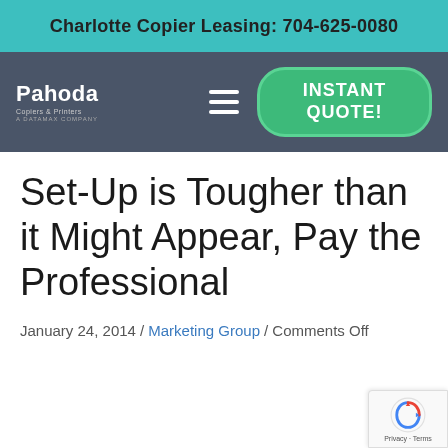Charlotte Copier Leasing: 704-625-0080
[Figure (logo): Pahoda Copiers & Printers logo with navigation bar including hamburger menu and Instant Quote button on dark blue-grey background]
Set-Up is Tougher than it Might Appear, Pay the Professional
January 24, 2014 / Marketing Group / Comments Off